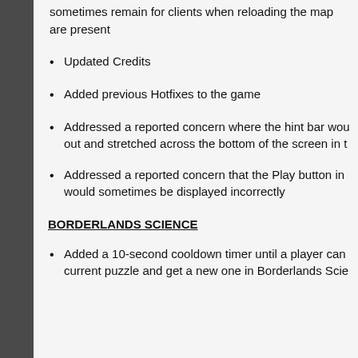sometimes remain for clients when reloading the map are present
Updated Credits
Added previous Hotfixes to the game
Addressed a reported concern where the hint bar would out and stretched across the bottom of the screen in t
Addressed a reported concern that the Play button in would sometimes be displayed incorrectly
BORDERLANDS SCIENCE
Added a 10-second cooldown timer until a player can current puzzle and get a new one in Borderlands Scie